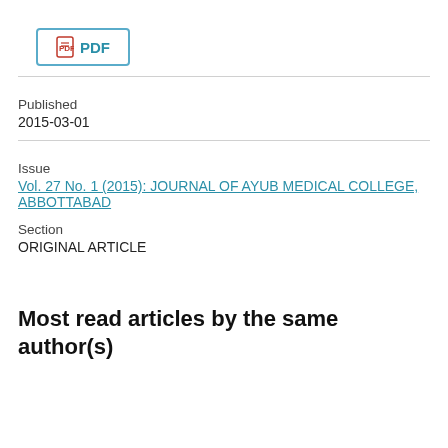[Figure (other): PDF button with icon and teal border]
Published
2015-03-01
Issue
Vol. 27 No. 1 (2015): JOURNAL OF AYUB MEDICAL COLLEGE, ABBOTTABAD
Section
ORIGINAL ARTICLE
Most read articles by the same author(s)